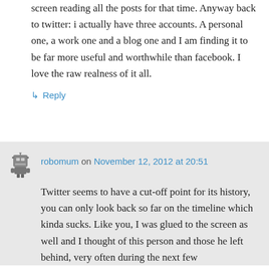screen reading all the posts for that time. Anyway back to twitter: i actually have three accounts. A personal one, a work one and a blog one and I am finding it to be far more useful and worthwhile than facebook. I love the raw realness of it all.
↳ Reply
robomum on November 12, 2012 at 20:51
Twitter seems to have a cut-off point for its history, you can only look back so far on the timeline which kinda sucks. Like you, I was glued to the screen as well and I thought of this person and those he left behind, very often during the next few